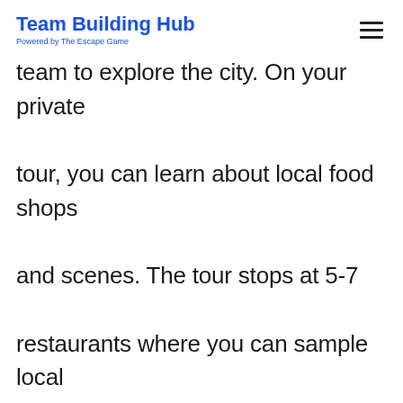Team Building Hub
Powered by The Escape Game
team to explore the city. On your private tour, you can learn about local food shops and scenes. The tour stops at 5-7 restaurants where you can sample local dishes from the chefs.

Walk around and explore Audubon Park and Winter Park on your private tour.